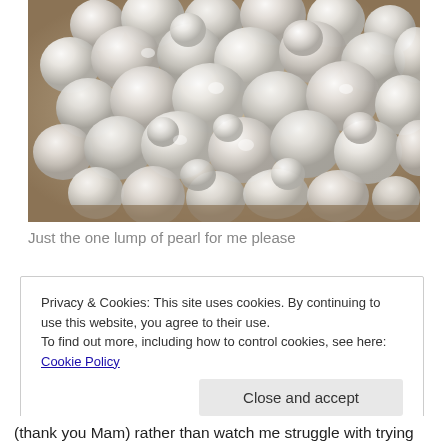[Figure (photo): A close-up photograph of many loose freshwater pearls, white and off-white in color, piled together in what appears to be a bowl or dish.]
Just the one lump of pearl for me please
Privacy & Cookies: This site uses cookies. By continuing to use this website, you agree to their use.
To find out more, including how to control cookies, see here: Cookie Policy
(thank you Mam) rather than watch me struggle with trying